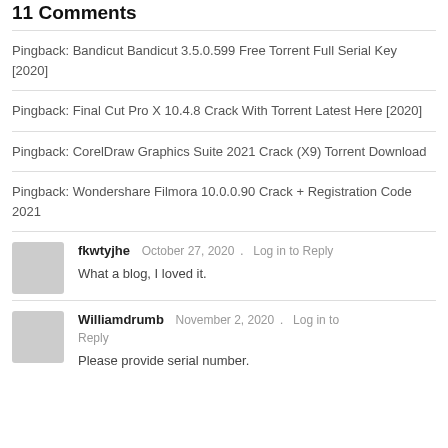11 Comments
Pingback: Bandicut Bandicut 3.5.0.599 Free Torrent Full Serial Key [2020]
Pingback: Final Cut Pro X 10.4.8 Crack With Torrent Latest Here [2020]
Pingback: CorelDraw Graphics Suite 2021 Crack (X9) Torrent Download
Pingback: Wondershare Filmora 10.0.0.90 Crack + Registration Code 2021
fkwtyjhe  October 27, 2020 . Log in to Reply
What a blog, I loved it.
Williamdrumb  November 2, 2020 . Log in to Reply
Please provide serial number.